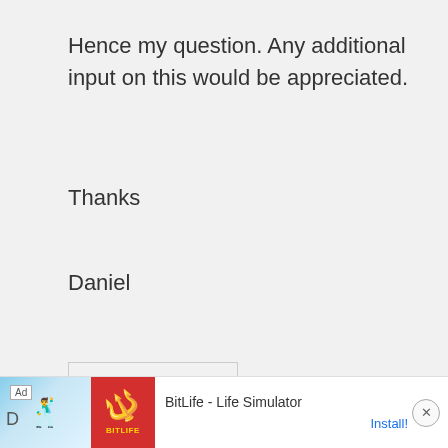Hence my question. Any additional input on this would be appreciated.
Thanks
Daniel
Reply
Michael says:
November 10, 2015 at 8:13 am
[Figure (screenshot): Mobile advertisement banner for BitLife - Life Simulator app with Install button and close X button]